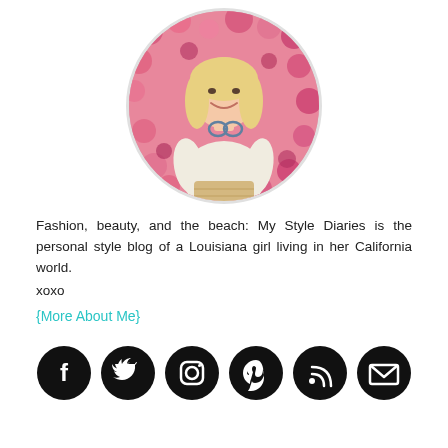[Figure (photo): Circular profile photo of a smiling blonde woman in a cream sweater with sunglasses, standing in front of pink flowers, holding a woven bag.]
Fashion, beauty, and the beach: My Style Diaries is the personal style blog of a Louisiana girl living in her California world.
xoxo
{More About Me}
[Figure (other): Row of six black circular social media icons: Facebook, Twitter, Instagram, Pinterest, RSS, and Email/Envelope.]